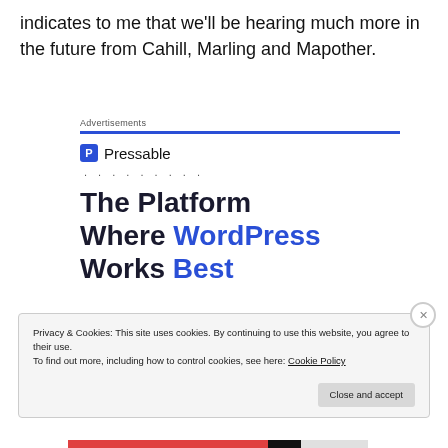indicates to me that we'll be hearing much more in the future from Cahill, Marling and Mapother.
Advertisements
[Figure (other): Pressable advertisement showing logo with 'P' icon and text 'Pressable' with dots below, followed by headline 'The Platform Where WordPress Works Best' in dark blue and blue text.]
Privacy & Cookies: This site uses cookies. By continuing to use this website, you agree to their use.
To find out more, including how to control cookies, see here: Cookie Policy